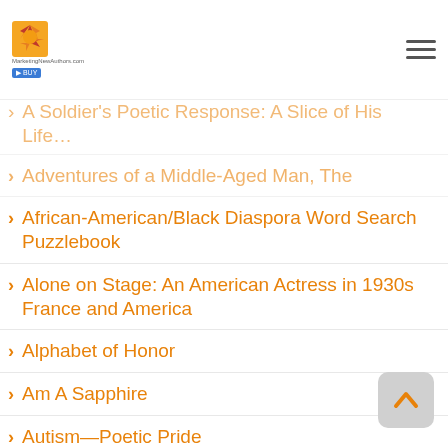Marketing New Authors website logo and hamburger menu
A Soldier's Poetic Response: A Slice of His Life...
Adventures of a Middle-Aged Man, The
African-American/Black Diaspora Word Search Puzzlebook
Alone on Stage: An American Actress in 1930s France and America
Alphabet of Honor
Am A Sapphire
Autism—Poetic Pride
Bare Essentials 19th Ed. E-Book
BARE Essentials Bits
Bare Essentials: An English Handbook for Beginner Writers, 19th ed.
Basics of Basic Counseling, The
Becoming Me Again: A Workbook for Sexually-Abused Kids and Teens
Body of Jesus Christ, The